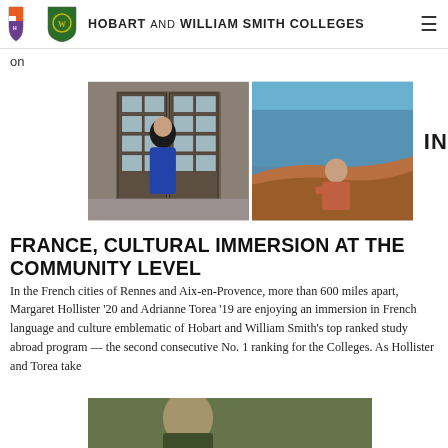HOBART AND WILLIAM SMITH COLLEGES
on
[Figure (photo): Two side-by-side photos: left shows a young woman standing in front of dark wooden French doors on a cobblestone street; right shows a young woman sitting on a rocky outcrop with a coastal aerial view behind her. To the right of the photos is the word IN in bold.]
FRANCE, CULTURAL IMMERSION AT THE COMMUNITY LEVEL
In the French cities of Rennes and Aix-en-Provence, more than 600 miles apart, Margaret Hollister '20 and Adrianne Torea '19 are enjoying an immersion in French language and culture emblematic of Hobart and William Smith's top ranked study abroad program — the second consecutive No. 1 ranking for the Colleges. As Hollister and Torea take
[Figure (photo): Partial view of a third photo at the bottom of the page, showing a person outdoors, cropped.]